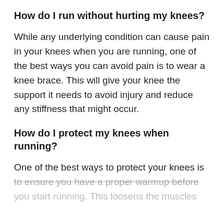How do I run without hurting my knees?
While any underlying condition can cause pain in your knees when you are running, one of the best ways you can avoid pain is to wear a knee brace. This will give your knee the support it needs to avoid injury and reduce any stiffness that might occur.
How do I protect my knees when running?
One of the best ways to protect your knees is to ensure you have a proper warmup before you start running. This loosens the muscles